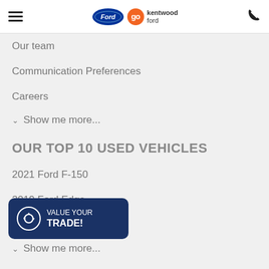Ford — Go Kentwood Ford
Our team
Communication Preferences
Careers
Show me more...
OUR TOP 10 USED VEHICLES
2021 Ford F-150
2019 Ford Edge
2020 Ford Escape
Show me more...
OUR TOP 10 MODELS AVAILABLE
Ford Edge for sale
[Figure (infographic): Value Your Trade CTA button with recycling icon]